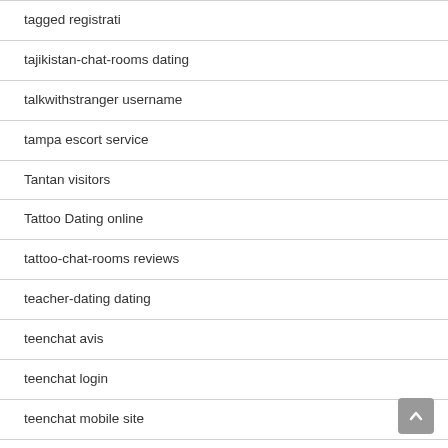tagged registrati
tajikistan-chat-rooms dating
talkwithstranger username
tampa escort service
Tantan visitors
Tattoo Dating online
tattoo-chat-rooms reviews
teacher-dating dating
teenchat avis
teenchat login
teenchat mobile site
telegraph dating mobile site